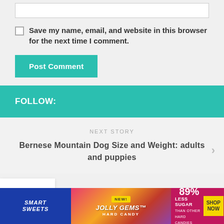Save my name, email, and website in this browser for the next time I comment.
Post Comment
FOLLOW:
NEXT STORY
Bernese Mountain Dog Size and Weight: adults and puppies
[Figure (other): Smart Sweets Jolly Gems Hard Candy advertisement banner — 89% Less Sugar than other hard candies, Shop Now button]